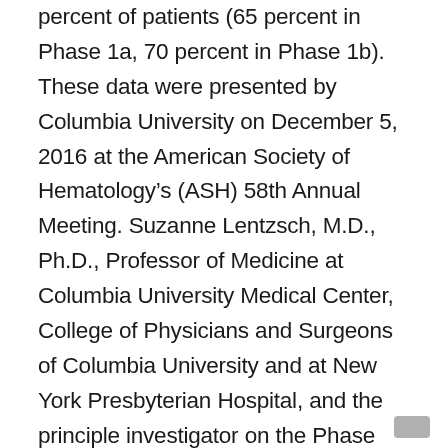percent of patients (65 percent in Phase 1a, 70 percent in Phase 1b). These data were presented by Columbia University on December 5, 2016 at the American Society of Hematology's (ASH) 58th Annual Meeting. Suzanne Lentzsch, M.D., Ph.D., Professor of Medicine at Columbia University Medical Center, College of Physicians and Surgeons of Columbia University and at New York Presbyterian Hospital, and the principle investigator on the Phase 1a/1b study, said, “These interim results demonstrate strong biomarker activity that may speak to CAEL-101’s ability to safely promote amyloid elimination and the subsequent